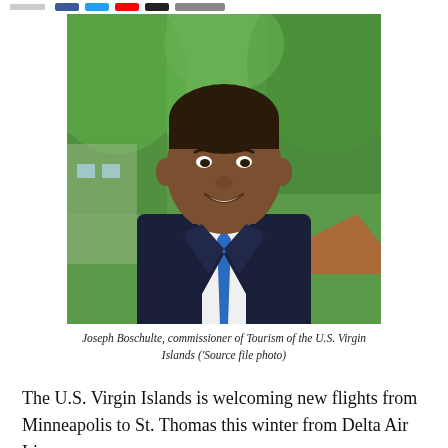[Figure (photo): Portrait photo of Joseph Boschulte, a man in a dark navy suit with a blue tie, smiling, with green trees in the background]
Joseph Boschulte, commissioner of Tourism of the U.S. Virgin Islands ('Source file photo)
The U.S. Virgin Islands is welcoming new flights from Minneapolis to St. Thomas this winter from Delta Air Lines